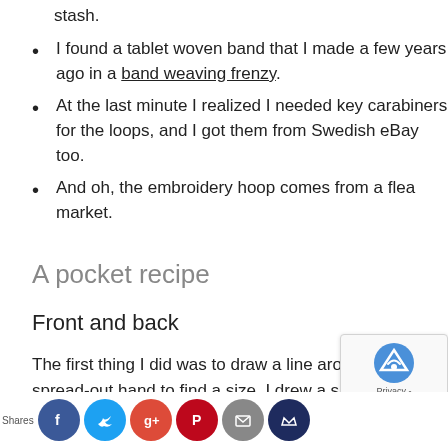stash.
I found a tablet woven band that I made a few years ago in a band weaving frenzy.
At the last minute I realized I needed key carabiners for the loops, and I got them from Swedish eBay too.
And oh, the embroidery hoop comes from a flea market.
A pocket recipe
Front and back
The first thing I did was to draw a line around my spread-out hand to find a size. I drew a shape I liked and transferred it to the pink (back side) towel. I made sl... larger version that I transfered to the turquoise (fro... side) t...l. That...y I got...opport...y to fr...